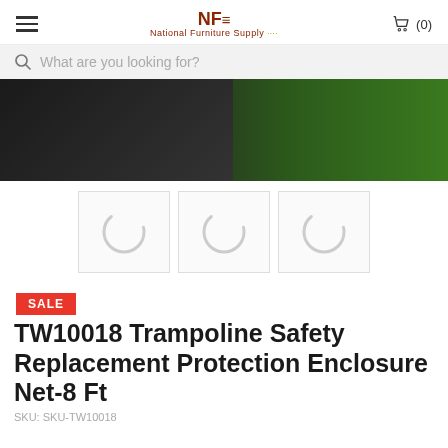National Furniture Supply (0)
What are you looking for?
[Figure (photo): Person in black clothing on green grass, product image area]
[Figure (photo): Three thumbnail image placeholders loading]
SALE
TW10018 Trampoline Safety Replacement Protection Enclosure Net-8 Ft
SKU: SKU-TW10018